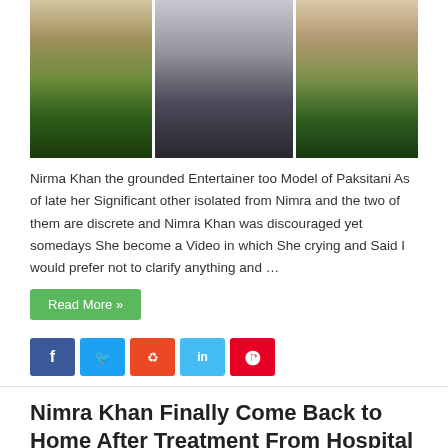[Figure (photo): Three photos of Pakistani entertainer/model Nimra Khan: left showing peacock feather dress, center showing casual street outfit in black coat and jeans, right showing peacock feather dress again]
Nirma Khan the grounded Entertainer too Model of Paksitani As of late her Significant other isolated from Nimra and the two of them are discrete and Nimra Khan was discouraged yet somedays She become a Video in which She crying and Said I would prefer not to clarify anything and …
Read More »
[Figure (infographic): Social media share buttons: Facebook (blue), Twitter (light blue), StumbleUpon (orange-red), LinkedIn (light blue), Pinterest (red)]
Nimra Khan Finally Come Back to Home After Treatment From Hospital
August 15, 2021   Showbiz Celebrities   0